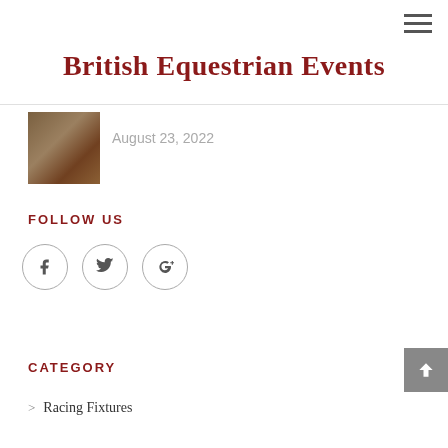≡
British Equestrian Events
[Figure (photo): Thumbnail photo of horses]
August 23, 2022
FOLLOW US
[Figure (infographic): Social media icons: Facebook, Twitter, Google+]
CATEGORY
> Racing Fixtures